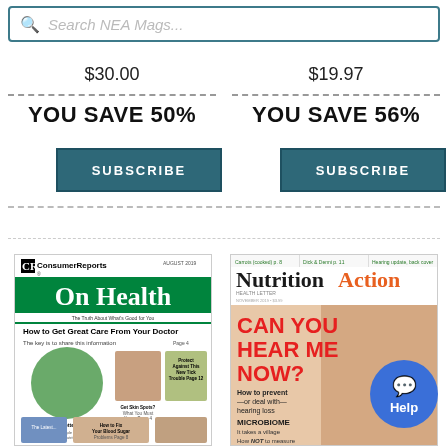[Figure (screenshot): Search bar with magnifying glass icon and placeholder text 'Search NEA Mags...']
$30.00
$19.97
YOU SAVE 50%
YOU SAVE 56%
[Figure (other): Subscribe button (left) - dark teal background with white uppercase text]
[Figure (other): Subscribe button (right) - dark teal background with white uppercase text]
[Figure (photo): Consumer Reports On Health magazine cover showing 'How to Get Great Care From Your Doctor']
[Figure (photo): Nutrition Action Health Letter magazine cover with 'CAN YOU HEAR ME NOW?' headline about hearing loss]